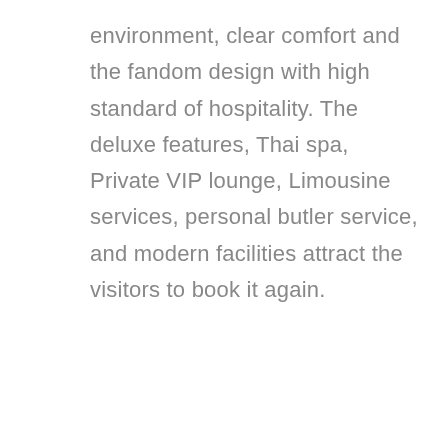environment, clear comfort and the fandom design with high standard of hospitality. The deluxe features, Thai spa, Private VIP lounge, Limousine services, personal butler service, and modern facilities attract the visitors to book it again.